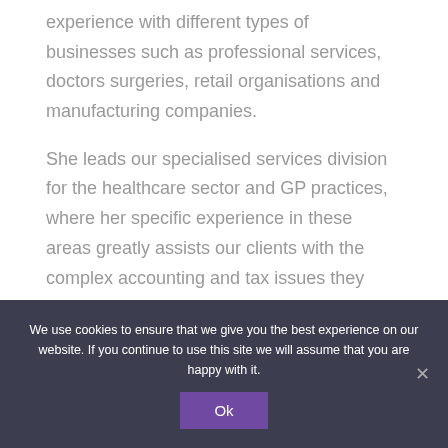experience with different types of businesses such as professional services, doctors surgeries, retail organisations and manufacturing companies.
She leads our specialised services division for the healthcare sector and GP practices, where her specific experience in these areas greatly assists our clients with the complex accounting and tax issues they regularly face.
We use cookies to ensure that we give you the best experience on our website. If you continue to use this site we will assume that you are happy with it. Ok